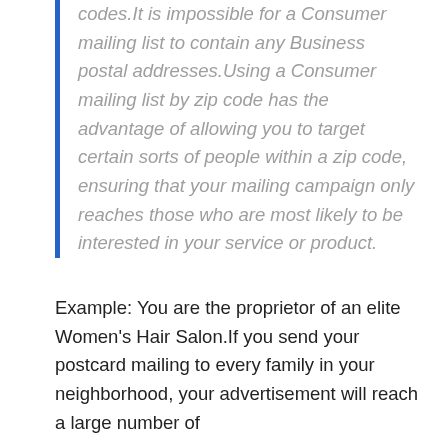codes.It is impossible for a Consumer mailing list to contain any Business postal addresses.Using a Consumer mailing list by zip code has the advantage of allowing you to target certain sorts of people within a zip code, ensuring that your mailing campaign only reaches those who are most likely to be interested in your service or product.
Example: You are the proprietor of an elite Women's Hair Salon.If you send your postcard mailing to every family in your neighborhood, your advertisement will reach a large number of people who are unlikely to visit your salon.